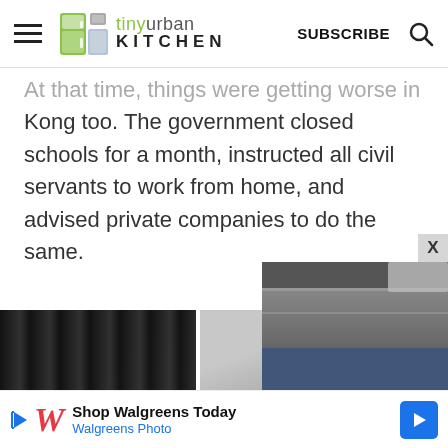tiny urban KITCHEN — SUBSCRIBE
At that time, things were getting worse in Hong Kong too. The government closed schools for a month, instructed all civil servants to work from home, and advised private companies to do the same.
[Figure (photo): Partial view of photos at bottom of article page]
Shop Walgreens Today — Walgreens Photo (advertisement)